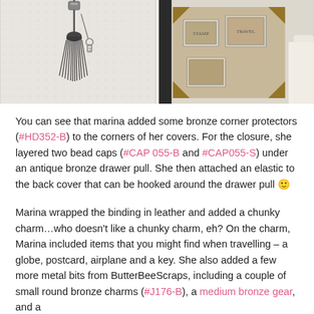[Figure (photo): Two side-by-side photos: left shows a black tassel hanging from hardware on a white lace background; right shows a decorated book/journal cover with vintage postage stamp motifs resting on white fabric.]
You can see that marina added some bronze corner protectors (#HD352-B) to the corners of her covers. For the closure, she layered two bead caps (#CAP 055-B and #CAP055-S) under an antique bronze drawer pull. She then attached an elastic to the back cover that can be hooked around the drawer pull 🙂
Marina wrapped the binding in leather and added a chunky charm…who doesn't like a chunky charm, eh? On the charm, Marina included items that you might find when travelling – a globe, postcard, airplane and a key. She also added a few more metal bits from ButterBeeScraps, including a couple of small round bronze charms (#J176-B), a medium bronze gear, and a